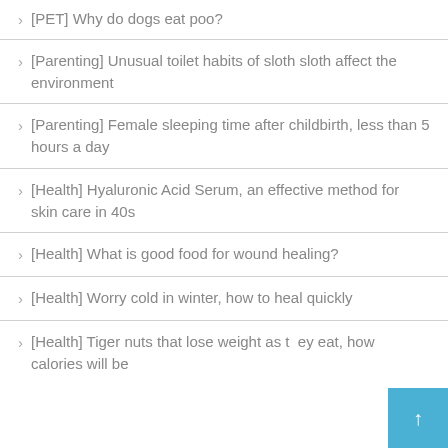> [PET] Why do dogs eat poo?
> [Parenting] Unusual toilet habits of sloth sloth affect the environment
> [Parenting] Female sleeping time after childbirth, less than 5 hours a day
> [Health] Hyaluronic Acid Serum, an effective method for skin care in 40s
> [Health] What is good food for wound healing?
> [Health] Worry cold in winter, how to heal quickly
> [Health] Tiger nuts that lose weight as they eat, how calories will be